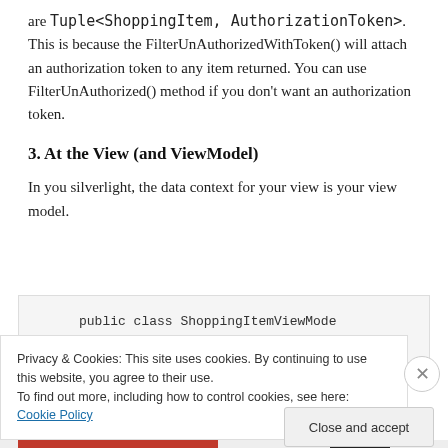are Tuple<ShoppingItem, AuthorizationToken>. This is because the FilterUnAuthorizedWithToken() will attach an authorization token to any item returned. You can use FilterUnAuthorized() method if you don't want an authorization token.
3. At the View (and ViewModel)
In you silverlight, the data context for your view is your view model.
[Figure (screenshot): Code snippet showing 'public class ShoppingItemViewMode' (truncated) on a light gray background]
Privacy & Cookies: This site uses cookies. By continuing to use this website, you agree to their use.
To find out more, including how to control cookies, see here: Cookie Policy